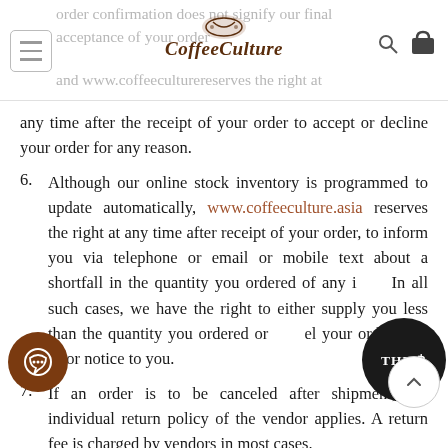Coffee Culture website navigation bar with logo, hamburger menu, search and cart icons
order confirmation does not signify our final acceptance of your order and www.coffeeculture reserves the right at any time after the receipt of your order to accept or decline your order for any reason.
6. Although our online stock inventory is programmed to update automatically, www.coffeeculture.asia reserves the right at any time after receipt of your order, to inform you via telephone or email or mobile text about a shortfall in the quantity you ordered of any item. In all such cases, we have the right to either supply you less than the quantity you ordered or cancel your order with prior notice to you.
7. If an order is to be canceled after shipment, the individual return policy of the vendor applies. A return fee is charged by vendors in most cases.